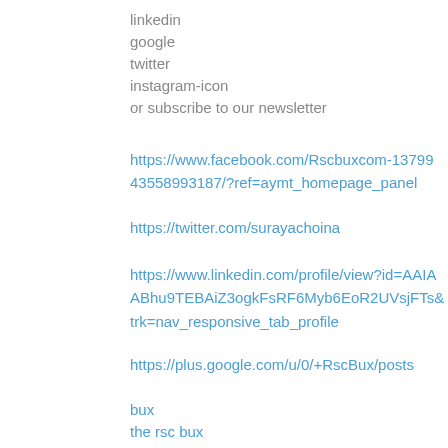linkedin
google
twitter
instagram-icon
or subscribe to our newsletter
https://www.facebook.com/Rscbuxcom-1379943558993187/?ref=aymt_homepage_panel
https://twitter.com/surayachoina
https://www.linkedin.com/profile/view?id=AAIAABhu9TEBAiZ3ogkFsRF6Myb6EoR2UVsjFTs&trk=nav_responsive_tab_profile
https://plus.google.com/u/0/+RscBux/posts
bux
the rsc bux
advertising